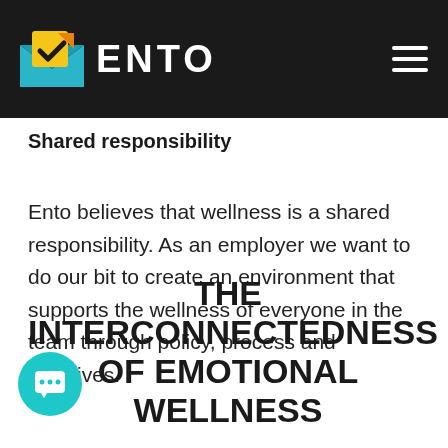ENTO
Shared responsibility
Ento believes that wellness is a shared responsibility. As an employer we want to do our bit to create an environment that supports the wellness of everyone in the team through policy, process and initiatives.
THE INTERCONNECTEDNESS OF EMOTIONAL WELLNESS